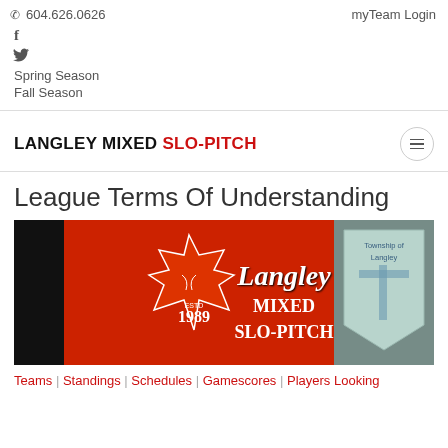604.626.0626  myTeam Login
f (Facebook)
Twitter
Spring Season
Fall Season
LANGLEY MIXED SLO-PITCH
League Terms Of Understanding
[Figure (logo): Langley Mixed Slo-Pitch Spring league banner — black left bar with 'SPRING' text vertically, red maple leaf with softball stitching, 'ESTD 1989', 'Langley MIXED SLO-PITCH' script/block lettering, Township of Langley crest on right]
Teams | Standings | Schedules | Gamescores | Players Looking